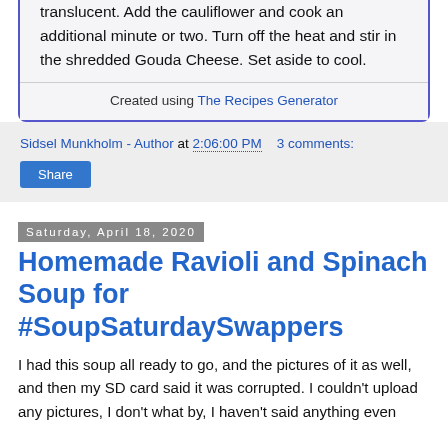translucent. Add the cauliflower and cook an additional minute or two. Turn off the heat and stir in the shredded Gouda Cheese. Set aside to cool.
Created using The Recipes Generator
Sidsel Munkholm - Author at 2:06:00 PM   3 comments:
Share
Saturday, April 18, 2020
Homemade Ravioli and Spinach Soup for #SoupSaturdaySwappers
I had this soup all ready to go, and the pictures of it as well, and then my SD card said it was corrupted. I couldn't upload any pictures, I don't what by, I haven't said anything even